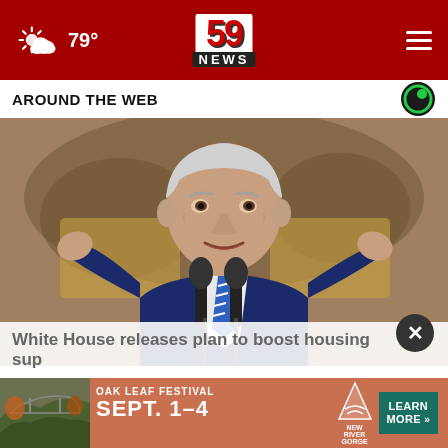59 NEWS — 79°
AROUND THE WEB
[Figure (photo): President Biden speaking at a podium with two microphones, wearing a dark blue suit and blue striped tie, hands raised, golden background painting behind him.]
White House releases plan to boost housing sup
[Figure (infographic): Oak Leaf Festival advertisement banner: SEPT. 1-4, New River Gorge, LEARN MORE button, with a forest gorge background photo.]